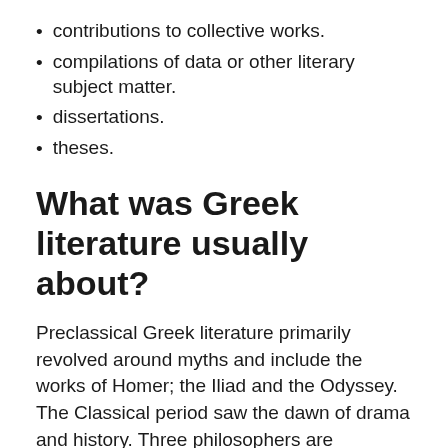contributions to collective works.
compilations of data or other literary subject matter.
dissertations.
theses.
What was Greek literature usually about?
Preclassical Greek literature primarily revolved around myths and include the works of Homer; the Iliad and the Odyssey. The Classical period saw the dawn of drama and history. Three philosophers are especially notable: Socrates, Plato, and Aristotle.
What was the influence Greek...